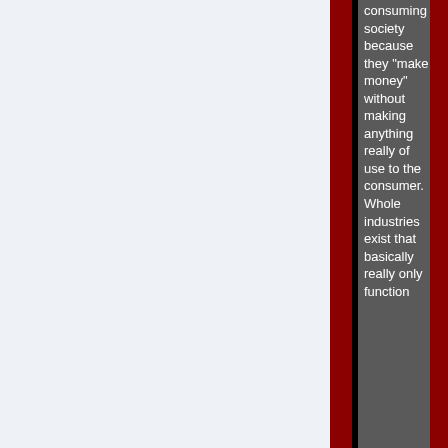consuming society because they "make money" without making anything really of use to the consumer. Whole industries exist that basically really only function